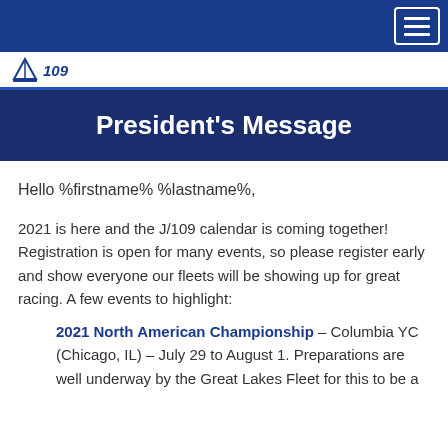Navigation bar with hamburger menu icon
[Figure (logo): J/109 sailing club logo with a small sailboat icon and italic bold text '109']
President's Message
Hello %firstname% %lastname%,
2021 is here and the J/109 calendar is coming together! Registration is open for many events, so please register early and show everyone our fleets will be showing up for great racing.  A few events to highlight:
2021 North American Championship – Columbia YC (Chicago, IL) – July 29 to August 1.  Preparations are well underway by the Great Lakes Fleet for this to be a